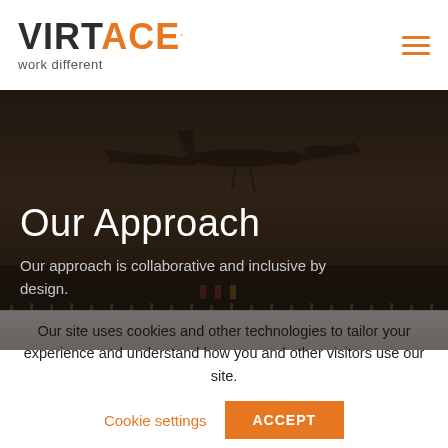[Figure (logo): VIRTACE logo with tagline 'work different' and hamburger menu icon]
[Figure (photo): Dark aerial/runway photograph with an aircraft approaching overhead, orange-tinted moody sky, runway with lights visible below]
Our Approach
Our approach is collaborative and inclusive by design.
Our site uses cookies and other technologies to tailor your experience and understand how you and other visitors use our site.
Cookie settings
ACCEPT